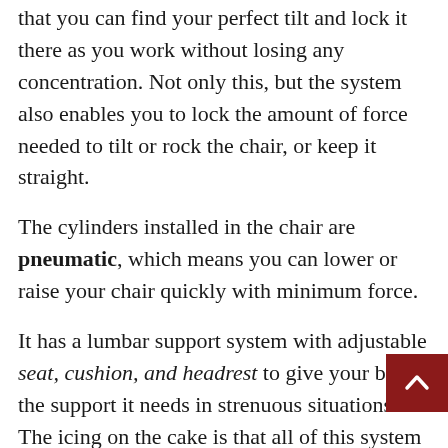that you can find your perfect tilt and lock it there as you work without losing any concentration. Not only this, but the system also enables you to lock the amount of force needed to tilt or rock the chair, or keep it straight.
The cylinders installed in the chair are pneumatic, which means you can lower or raise your chair quickly with minimum force.
It has a lumbar support system with adjustable seat, cushion, and headrest to give your body the support it needs in strenuous situations. The icing on the cake is that all of this system is conto and that's one of the things you'd want to stay in